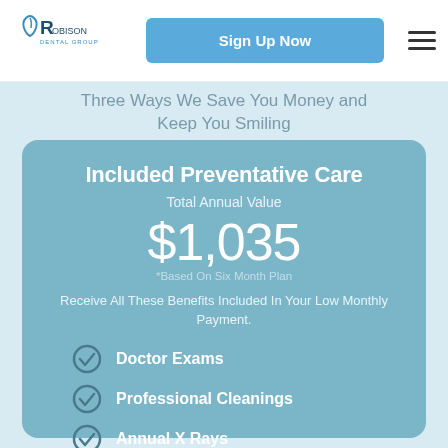[Figure (logo): Robison Dental Group logo with tooth icon]
Sign Up Now
Three Ways We Save You Money and Keep You Smiling
Included Preventative Care
Total Annual Value
$1,035
*Based On Six Month Plan
Receive All These Benefits Included In Your Low Monthly Payment.
Doctor Exams
Professional Cleanings
Annual X Rays